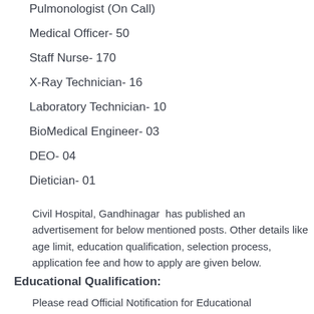Pulmonologist (On Call)
Medical Officer- 50
Staff Nurse- 170
X-Ray Technician- 16
Laboratory Technician- 10
BioMedical Engineer- 03
DEO- 04
Dietician- 01
Civil Hospital, Gandhinagar  has published an advertisement for below mentioned posts. Other details like age limit, education qualification, selection process, application fee and how to apply are given below.
Educational Qualification:
Please read Official Notification for Educational